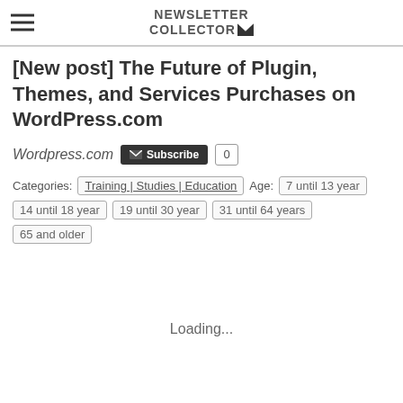NEWSLETTER COLLECTOR
[New post] The Future of Plugin, Themes, and Services Purchases on WordPress.com
Wordpress.com Subscribe 0
Categories: Training | Studies | Education  Age: 7 until 13 year
14 until 18 year   19 until 30 year   31 until 64 years   65 and older
Loading...